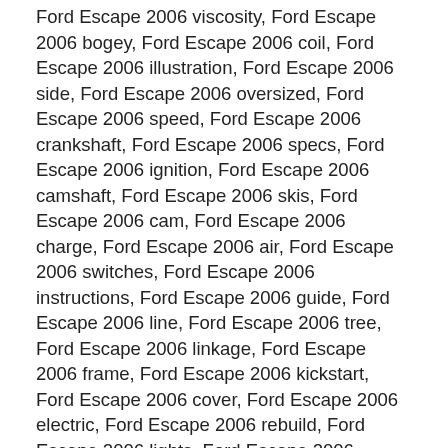Ford Escape 2006 viscosity, Ford Escape 2006 bogey, Ford Escape 2006 coil, Ford Escape 2006 illustration, Ford Escape 2006 side, Ford Escape 2006 oversized, Ford Escape 2006 speed, Ford Escape 2006 crankshaft, Ford Escape 2006 specs, Ford Escape 2006 ignition, Ford Escape 2006 camshaft, Ford Escape 2006 skis, Ford Escape 2006 cam, Ford Escape 2006 charge, Ford Escape 2006 air, Ford Escape 2006 switches, Ford Escape 2006 instructions, Ford Escape 2006 guide, Ford Escape 2006 line, Ford Escape 2006 tree, Ford Escape 2006 linkage, Ford Escape 2006 frame, Ford Escape 2006 kickstart, Ford Escape 2006 cover, Ford Escape 2006 electric, Ford Escape 2006 rebuild, Ford Escape 2006 lights, Ford Escape 2006 radiator, Ford Escape 2006 displacement, Ford Escape 2006 motor, Ford Escape 2006 crank, Ford Escape 2006 head, Ford Escape 2006 seat, Ford Escape 2006 workshop, Ford Escape 2006 piston